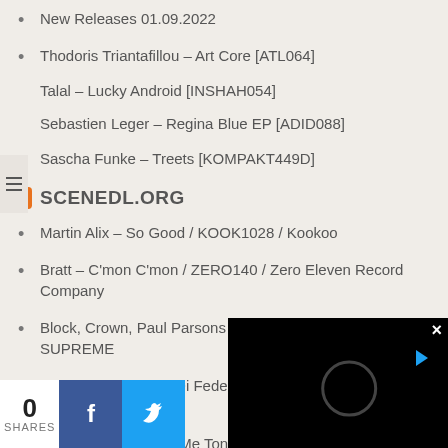New Releases 01.09.2022
Thodoris Triantafillou – Art Core [ATL064]
Talal – Lucky Android [INSHAH054]
Sebastien Leger – Regina Blue EP [ADID088]
Sascha Funke – Treets [KOMPAKT449D]
SCENEDL.ORG
Martin Alix – So Good / KOOK1028 / Kookoo
Bratt – C'mon C'mon / ZERO140 / Zero Eleven Record Company
Block, Crown, Paul Parsons – Show U / FSM0053 / FUNK SUPREME
Angelo Ferreri, Gas Di Fede – Da House Vibe / IT100B / In It Together
Jay Caruso – Shake Me Tonite
0 SHARES